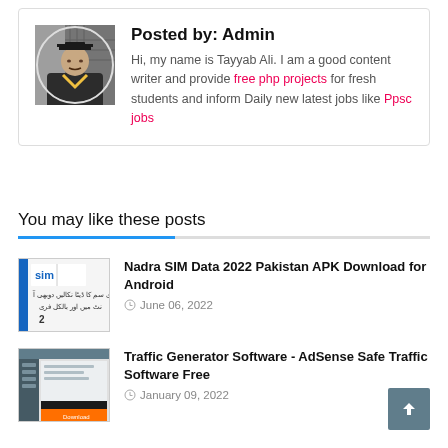[Figure (photo): Author avatar - circular photo of a man in graduation cap and gown]
Posted by: Admin
Hi, my name is Tayyab Ali. I am a good content writer and provide free php projects for fresh students and inform Daily new latest jobs like Ppsc jobs
You may like these posts
[Figure (photo): Thumbnail image for Nadra SIM Data 2022 Pakistan APK article - shows SIM card related graphic with Urdu text]
Nadra SIM Data 2022 Pakistan APK Download for Android
June 06, 2022
[Figure (screenshot): Thumbnail image for Traffic Generator Software article - shows software window with orange button]
Traffic Generator Software - AdSense Safe Traffic Software Free
January 09, 2022